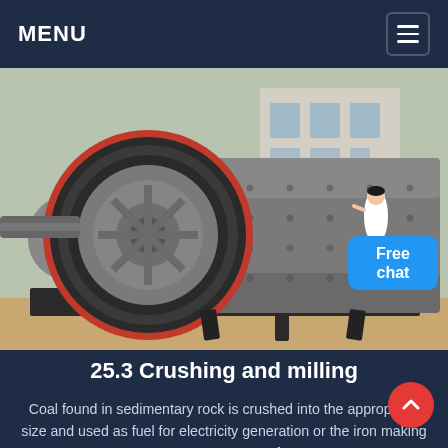MENU
[Figure (photo): Industrial ball mill machinery — large grey cylindrical grinding mill with a red-rimmed gear wheel, photographed outdoors with a building in the background. A small avatar of a woman in white is visible on the right side.]
25.3 Crushing and milling
Coal found in sedimentary rock is crushed into the appropriate size and used as fuel for electricity generation or the iron making process Lumps of